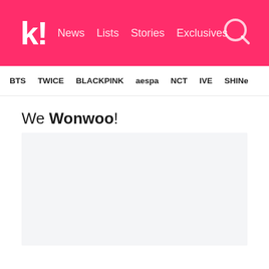koreaboo — News  Lists  Stories  Exclusives
BTS  TWICE  BLACKPINK  aespa  NCT  IVE  SHINee
We Wonwoo!
[Figure (photo): Light gray image placeholder rectangle]